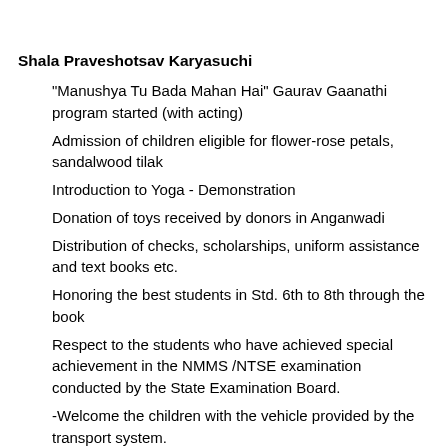Shala Praveshotsav Karyasuchi
"Manushya Tu Bada Mahan Hai" Gaurav Gaanathi program started (with acting)
Admission of children eligible for flower-rose petals, sandalwood tilak
Introduction to Yoga - Demonstration
Donation of toys received by donors in Anganwadi
Distribution of checks, scholarships, uniform assistance and text books etc.
Honoring the best students in Std. 6th to 8th through the book
Respect to the students who have achieved special achievement in the NMMS /NTSE examination conducted by the State Examination Board.
-Welcome the children with the vehicle provided by the transport system.
If a new Pragya class has been found in the school then its